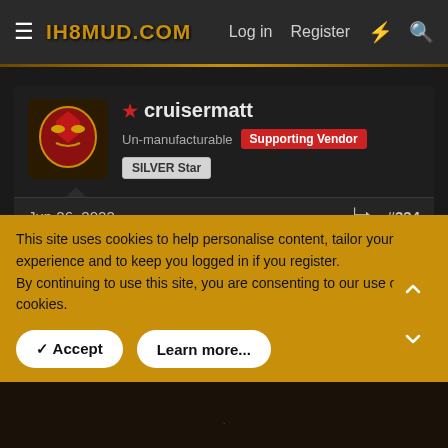IH8MUD.COM  Log in  Register
cruisermatt
Un-manufacturable  Supporting Vendor  SILVER Star
Jun 26, 2022  #334
SipLife said:
Correct me if I'm wrong Zach but I should ideally have a slightly negative caster to have a certain "dullness" to the
This site uses cookies to help personalise content, tailor your experience and to keep you logged in if you register.
By continuing to use this site, you are consenting to our use of cookies.